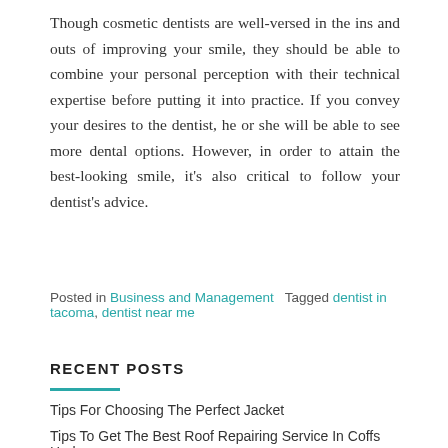Though cosmetic dentists are well-versed in the ins and outs of improving your smile, they should be able to combine your personal perception with their technical expertise before putting it into practice. If you convey your desires to the dentist, he or she will be able to see more dental options. However, in order to attain the best-looking smile, it's also critical to follow your dentist's advice.
Posted in Business and Management   Tagged dentist in tacoma, dentist near me
RECENT POSTS
Tips For Choosing The Perfect Jacket
Tips To Get The Best Roof Repairing Service In Coffs Harbour